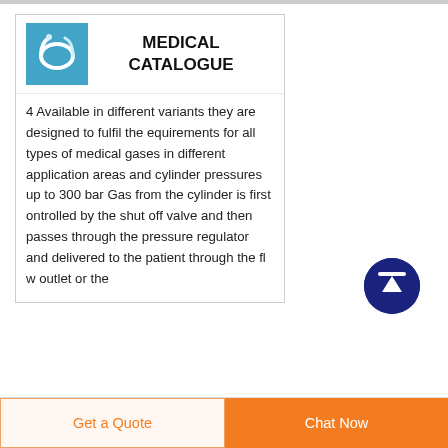[Figure (illustration): Blue square icon showing medical tubing/catheter equipment]
MEDICAL CATALOGUE
4 Available in different variants they are designed to fulfil the equirements for all types of medical gases in different application areas and cylinder pressures up to 300 bar Gas from the cylinder is first ontrolled by the shut off valve and then passes through the pressure regulator and delivered to the patient through the fl w outlet or the
[Figure (illustration): Dark blue circle with white upward arrow icon (scroll to top button)]
Get a Quote
Chat Now